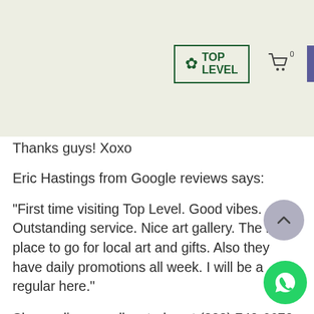Top Level — navigation header with logo, cart icon, and menu button
Thanks guys! Xoxo
Eric Hastings from Google reviews says:
"First time visiting Top Level. Good vibes. Outstanding service. Nice art gallery. The best place to go for local art and gifts. Also they have daily promotions all week. I will be a regular here."
Shop online or call us today at (202) 740-6670 to place your order. Check out the Top Level online menu here. Enjoy in-store shopping or get easy